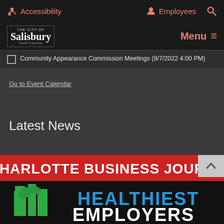Accessibility  Employees  [search]
The City of Salisbury  Menu
Community Appearance Commission Meetings (9/7/2022 4:00 PM)
Go to Event Calendar
Latest News
[Figure (screenshot): Charlotte Business Journal - Healthiest Employers banner image with red background showing 'CHARLOTTE BUSINESS JOURNAL' in white text, and 'HEALTHIEST EMPLOYERS' in blue and white text with green building/plant logo icons]